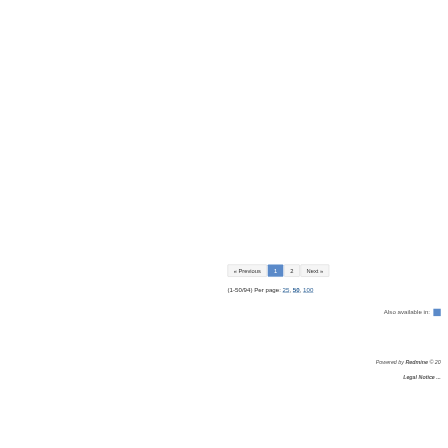|  | # | Tracker | Status |
| --- | --- | --- | --- |
| ☐ | 38130 | Feature | New |
| ☐ | 38369 | Bug | New |
| ☐ | 39936 | Feature | New |
| ☐ | 39990 | Bug | New |
| ☐ | 40064 | Bug | New |
| ☐ | 40081 | Feature | New |
| ☐ | 40998 | Bug | Under Review |
| ☐ | 42397 | Feature | New |
| ☐ | 42743 | Task | New |
| ☐ | 43071 | Task | New |
« Previous  1  2  Next »
(1-50/94) Per page: 25, 50, 100
Also available in:
Powered by Redmine © 20...
Legal Notice ...